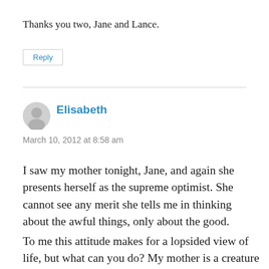Thanks you two, Jane and Lance.
Reply
Elisabeth
March 10, 2012 at 8:58 am
I saw my mother tonight, Jane, and again she presents herself as the supreme optimist. She cannot see any merit she tells me in thinking about the awful things, only about the good.
To me this attitude makes for a lopsided view of life, but what can you do? My mother is a creature of her times, her personality and her